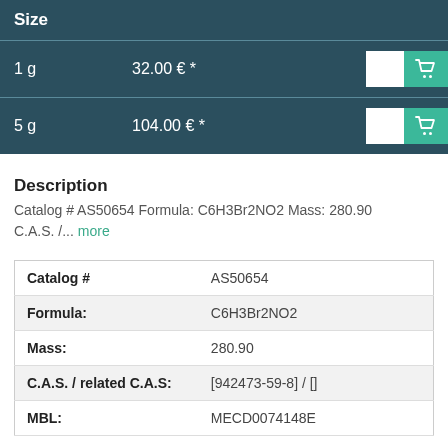| Size |  |  |
| --- | --- | --- |
| 1 g | 32.00 € * | [qty input] [cart] |
| 5 g | 104.00 € * | [qty input] [cart] |
Description
Catalog # AS50654 Formula: C6H3Br2NO2 Mass: 280.90 C.A.S. /... more
|  |  |
| --- | --- |
| Catalog # | AS50654 |
| Formula: | C6H3Br2NO2 |
| Mass: | 280.90 |
| C.A.S. / related C.A.S: | [942473-59-8] / [] |
| MBL: | MECD0074148E |